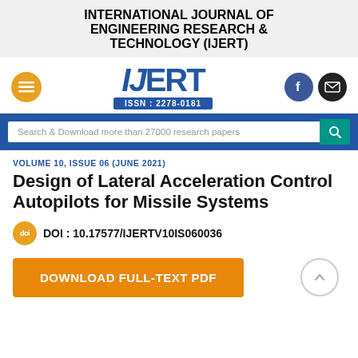INTERNATIONAL JOURNAL OF ENGINEERING RESEARCH & TECHNOLOGY (IJERT)
[Figure (logo): IJERT logo with ISSN: 2278-0181, hamburger menu button, Facebook and email icons]
Search & Download more than 27000 research papers
VOLUME 10, ISSUE 06 (JUNE 2021)
Design of Lateral Acceleration Control Autopilots for Missile Systems
DOI : 10.17577/IJERTV10IS060036
DOWNLOAD FULL-TEXT PDF